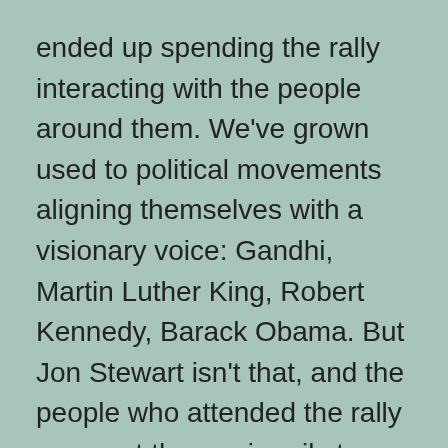ended up spending the rally interacting with the people around them. We've grown used to political movements aligning themselves with a visionary voice: Gandhi, Martin Luther King, Robert Kennedy, Barack Obama. But Jon Stewart isn't that, and the people who attended the rally were not there primarily to hear his jokes or to listen to the musical acts he booked.

The vast majority of the signs were anti-extremist signs, mostly lampooning the Tea Party. Just as the vast majority of the Tea Party's signs were against Democrats, I saw